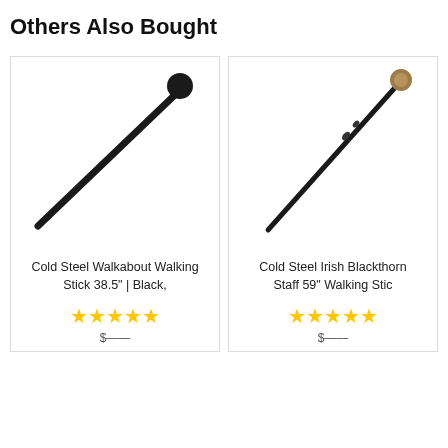Others Also Bought
[Figure (photo): Black walking stick/cane (Cold Steel Walkabout Walking Stick 38.5") shown diagonally on white background]
Cold Steel Walkabout Walking Stick 38.5" | Black,
[Figure (photo): Dark brown/black staff with round knob top (Cold Steel Irish Blackthorn Staff 59" Walking Stic) shown diagonally on white background]
Cold Steel Irish Blackthorn Staff 59" Walking Stic
★★★★★
★★★★★